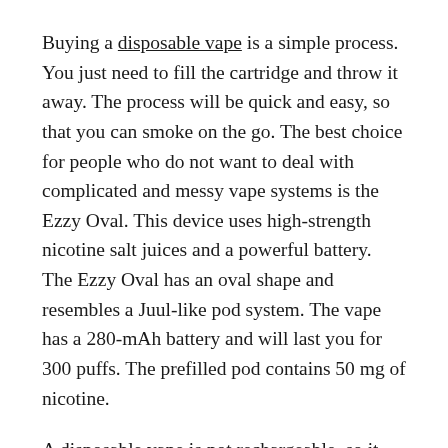Buying a disposable vape is a simple process. You just need to fill the cartridge and throw it away. The process will be quick and easy, so that you can smoke on the go. The best choice for people who do not want to deal with complicated and messy vape systems is the Ezzy Oval. This device uses high-strength nicotine salt juices and a powerful battery. The Ezzy Oval has an oval shape and resembles a Juul-like pod system. The vape has a 280-mAh battery and will last you for 300 puffs. The prefilled pod contains 50 mg of nicotine.
A disposable vape is not rechargeable, so it must be used immediately after purchase. Some models don't even require charging, so the device must last a while before you can use it again. The best option is to buy a new one every time you run out of cartridges. Whether you prefer a disposable or a rechargeable one, a disposable vape will make you happy. The vapor